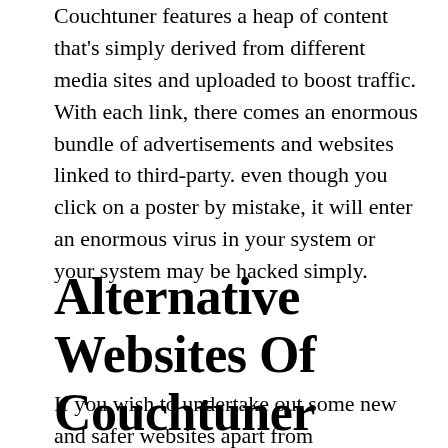Couchtuner features a heap of content that's simply derived from different media sites and uploaded to boost traffic. With each link, there comes an enormous bundle of advertisements and websites linked to third-party. even though you click on a poster by mistake, it will enter an enormous virus in your system or your system may be hacked simply.
Alternative Websites Of Couchtuner
If you wish to undertake out some new and safer websites apart from Couchtuner conductor, look at these choices that aren't solely free however safe